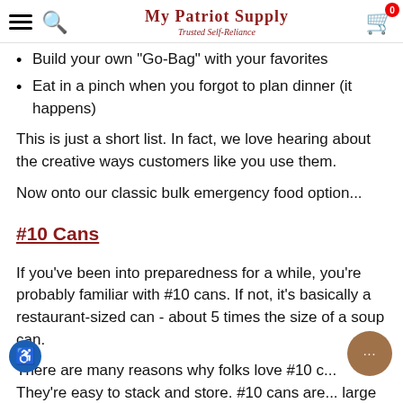My Patriot Supply — Trusted Self-Reliance
Build your own "Go-Bag" with your favorites
Eat in a pinch when you forgot to plan dinner (it happens)
This is just a short list. In fact, we love hearing about the creative ways customers like you use them.
Now onto our classic bulk emergency food option...
#10 Cans
If you've been into preparedness for a while, you're probably familiar with #10 cans. If not, it's basically a restaurant-sized can - about 5 times the size of a soup can.
There are many reasons why folks love #10 c... They're easy to stack and store. #10 cans are... large groups - especially if you have some hungry teenagers at home. They're also a favorite of home...